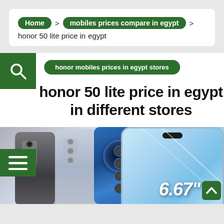Home > mobiles prices compare in egypt > honor 50 lite price in egypt
honor mobiles prices in egypt stores
honor 50 lite price in egypt in different stores
[Figure (photo): Three Honor 50 Lite smartphones shown from the back in dark gray, light gray/blue, and blue colors, plus one from the front showing the screen, with a 6.67 inch screen size label]